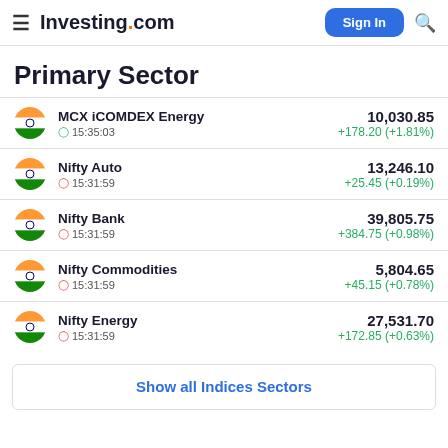Investing.com | Sign In
Primary Sector
MCX iCOMDEX Energy | 15:35:03 | 10,030.85 | +178.20 (+1.81%)
Nifty Auto | 15:31:59 | 13,246.10 | +25.45 (+0.19%)
Nifty Bank | 15:31:59 | 39,805.75 | +384.75 (+0.98%)
Nifty Commodities | 15:31:59 | 5,804.65 | +45.15 (+0.78%)
Nifty Energy | 15:31:59 | 27,531.70 | +172.85 (+0.63%)
Show all Indices Sectors